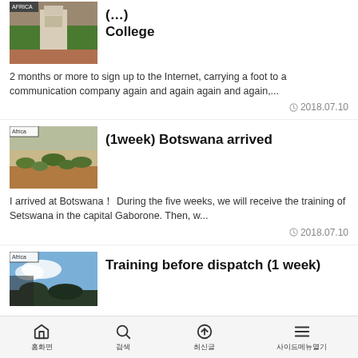[Figure (photo): Monument/statue with greenery, Africa tag label at top]
(…) College
2 months or more to sign up to the Internet, carrying a foot to a communication company again and again again and again,...
2018.07.10
[Figure (photo): Aerial savanna landscape view with trees, Africa tag label]
(1week) Botswana arrived
I arrived at Botswana！ During the five weeks, we will receive the training of Setswana in the capital Gaborone. Then, w...
2018.07.10
[Figure (photo): Blue sky with trees silhouette, Africa tag label]
Training before dispatch (1 week)
홈화면  검색  최신글  사이드메뉴열기